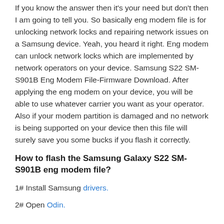If you know the answer then it's your need but don't then I am going to tell you. So basically eng modem file is for unlocking network locks and repairing network issues on a Samsung device. Yeah, you heard it right. Eng modem can unlock network locks which are implemented by network operators on your device. Samsung S22 SM-S901B Eng Modem File-Firmware Download. After applying the eng modem on your device, you will be able to use whatever carrier you want as your operator. Also if your modem partition is damaged and no network is being supported on your device then this file will surely save you some bucks if you flash it correctly.
How to flash the Samsung Galaxy S22 SM-S901B eng modem file?
1# Install Samsung drivers.
2# Open Odin.